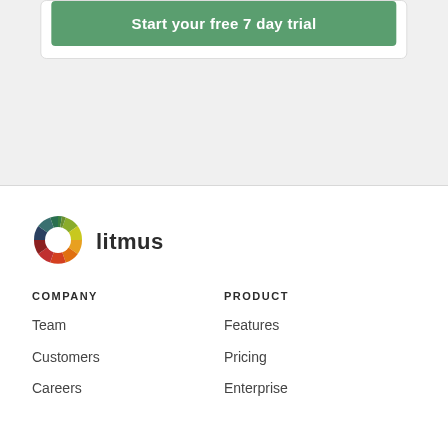Start your free 7 day trial
[Figure (logo): Litmus colorful wheel logo with 'litmus' text]
COMPANY
PRODUCT
Team
Features
Customers
Pricing
Careers
Enterprise